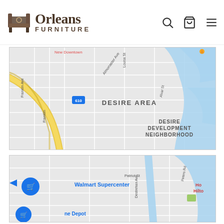Orleans Furniture
[Figure (map): Google Maps view of New Orleans Desire Area neighborhood, showing Almonaster Ave, Louisa St, Franklin Ave, Alvar St, I-610 highway (yellow), water features (blue), with labels: DESIRE AREA, DESIRE DEVELOPMENT NEIGHBORHOOD]
[Figure (map): Google Maps view of New Orleans area showing Patriot St, Peters Rd, Destrehan Ave, Walmart Supercenter location pin, Home Depot location pin, Ho Hilto (Hampton Inn / Hilton) label, water feature (blue)]